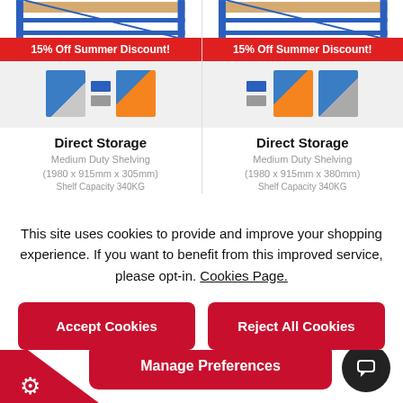[Figure (screenshot): Two product cards showing Direct Storage Medium Duty Shelving units with blue steel frames and wood shelves, each showing a 15% Off Summer Discount red banner and color swatches]
15% Off Summer Discount!
Direct Storage
Medium Duty Shelving
(1980 x 915mm x 305mm)
15% Off Summer Discount!
Direct Storage
Medium Duty Shelving
(1980 x 915mm x 380mm)
This site uses cookies to provide and improve your shopping experience. If you want to benefit from this improved service, please opt-in. Cookies Page.
Accept Cookies
Reject All Cookies
Manage Preferences